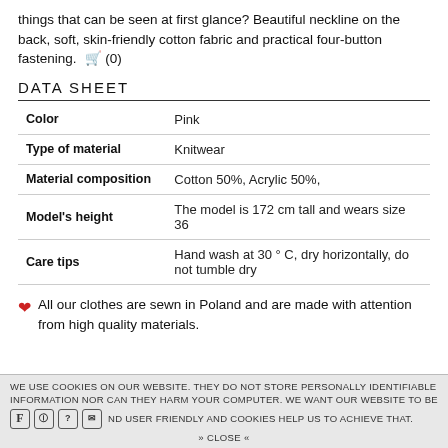things that can be seen at first glance? Beautiful neckline on the back, soft, skin-friendly cotton fabric and practical four-button fastening. 🛒 (0)
DATA SHEET
|  |  |
| --- | --- |
| Color | Pink |
| Type of material | Knitwear |
| Material composition | Cotton 50%, Acrylic 50%, |
| Model's height | The model is 172 cm tall and wears size 36 |
| Care tips | Hand wash at 30 ° C, dry horizontally, do not tumble dry |
❤ All our clothes are sewn in Poland and are made with attention from high quality materials.
WE USE COOKIES ON OUR WEBSITE. THEY DO NOT STORE PERSONALLY IDENTIFIABLE INFORMATION NOR CAN THEY HARM YOUR COMPUTER. WE WANT OUR WEBSITE TO BE AND USER FRIENDLY AND COOKIES HELP US TO ACHIEVE THAT. » CLOSE «